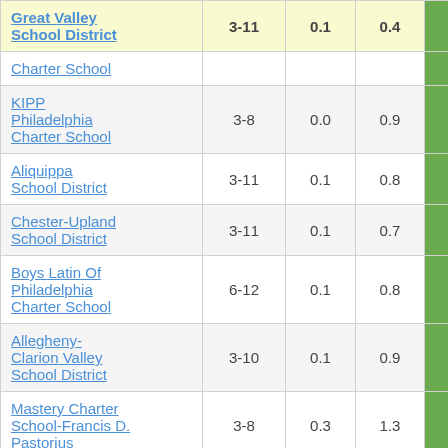| School/District | Grades | Col3 | Col4 | Score |
| --- | --- | --- | --- | --- |
| Great Valley School District | 3-11 | 0.1 | 0.4 | 0.20 |
| Charter School |  |  |  |  |
| KIPP Philadelphia Charter School | 3-8 | 0.0 | 0.9 | 0.03 |
| Aliquippa School District | 3-11 | 0.1 | 0.8 | 0.06 |
| Chester-Upland School District | 3-11 | 0.1 | 0.7 | 0.10 |
| Boys Latin Of Philadelphia Charter School | 6-12 | 0.1 | 0.8 | 0.12 |
| Allegheny-Clarion Valley School District | 3-10 | 0.1 | 0.9 | 0.15 |
| Mastery Charter School-Francis D. Pastorius | 3-8 | 0.3 | 1.3 | 0.24 |